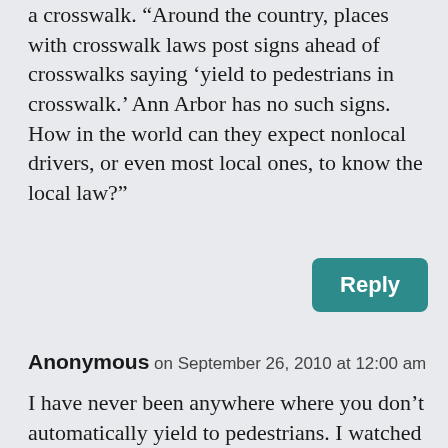a crosswalk. “Around the country, places with crosswalk laws post signs ahead of crosswalks saying ‘yield to pedestrians in crosswalk.’ Ann Arbor has no such signs. How in the world can they expect nonlocal drivers, or even most local ones, to know the local law?”
Reply
Anonymous on September 26, 2010 at 12:00 am
I have never been anywhere where you don’t automatically yield to pedestrians. I watched a woman with a baby in a stroller try to